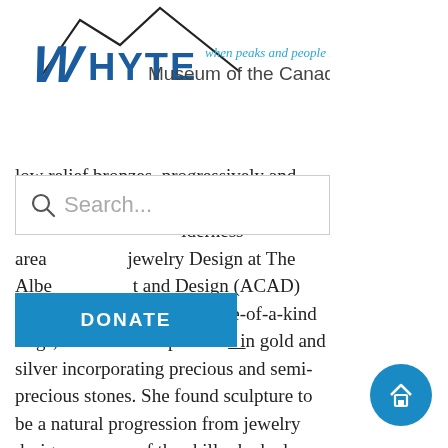Whyte Museum of the Canadian Rockies — when peaks and people meet
ely rare, it nt in my ries of low relief bronzes, progressively and e horses lderness
[Figure (screenshot): Search bar UI element with magnifying glass icon and placeholder text 'Search...']
[Figure (screenshot): Blue DONATE button overlay]
area Jewelry Design at The Albe t and Design (ACAD) where she began creating one-of-a-kind rings, brooches and pendants in gold and silver incorporating precious and semi-precious stones. She found sculpture to be a natural progression from jewelry design as many of the skills she had acquired could be applied. In recent years she has traveled extensively and it is to the cultures of South America, Europe that she owes for much of the inspiration. Line, shape, and rhythm are
[Figure (screenshot): Blue circular home button with house icon in bottom right corner]